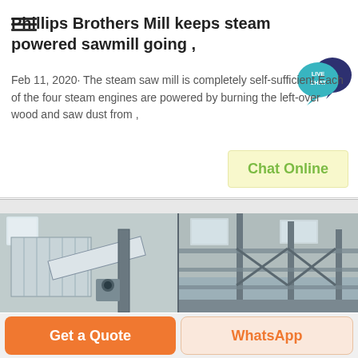Phillips Brothers Mill keeps steam powered sawmill going ,
Feb 11, 2020· The steam saw mill is completely self-sufficient Each of the four steam engines are powered by burning the left-over wood and saw dust from ,
[Figure (other): Live Chat bubble icon — teal/navy speech bubble with text LIVE CHAT]
[Figure (other): Chat Online button — light yellow-green button with green text]
[Figure (photo): Industrial sawmill interior — two-panel photo showing large metallic industrial equipment, ductwork, and machinery inside a warehouse-style building with concrete walls and windows]
[Figure (other): Get a Quote button — orange button with white text]
[Figure (other): WhatsApp button — light peach button with orange text]